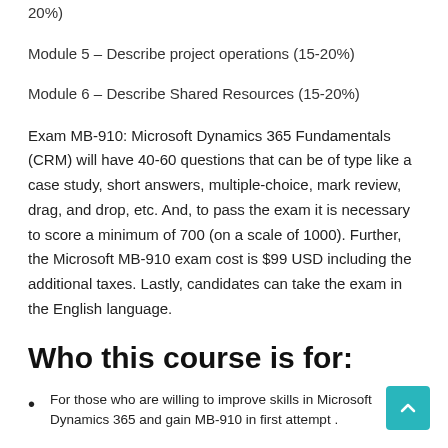20%)
Module 5 – Describe project operations (15-20%)
Module 6 – Describe Shared Resources (15-20%)
Exam MB-910: Microsoft Dynamics 365 Fundamentals (CRM) will have 40-60 questions that can be of type like a case study, short answers, multiple-choice, mark review, drag, and drop, etc. And, to pass the exam it is necessary to score a minimum of 700 (on a scale of 1000). Further, the Microsoft MB-910 exam cost is $99 USD including the additional taxes. Lastly, candidates can take the exam in the English language.
Who this course is for:
For those who are willing to improve skills in Microsoft Dynamics 365 and gain MB-910 in first attempt .